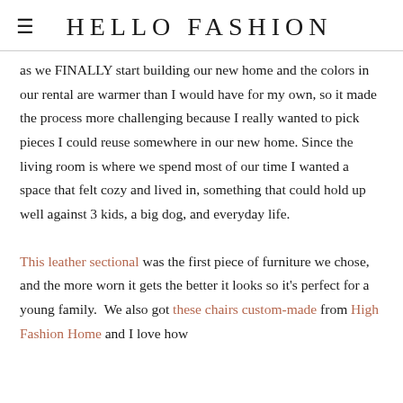HELLO FASHION
as we FINALLY start building our new home and the colors in our rental are warmer than I would have for my own, so it made the process more challenging because I really wanted to pick pieces I could reuse somewhere in our new home. Since the living room is where we spend most of our time I wanted a space that felt cozy and lived in, something that could hold up well against 3 kids, a big dog, and everyday life.
This leather sectional was the first piece of furniture we chose, and the more worn it gets the better it looks so it's perfect for a young family. We also got these chairs custom-made from High Fashion Home and I love how